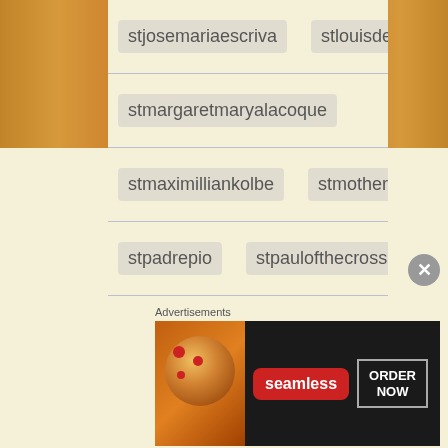stjosemariaescriva   stlouisdemontfort
stmargaretmaryalacoque
stmaximilliankolbe   stmotherteresa
stpadrepio   stpaulofthecross
stpetercanisius   stpeterchrysologus
stpeterdamian   stpopegregorythegreat
stpopejohnpaul   stpopeleothegreat
stteresaofavila   sttheodorethestudite
stthereseofthechildjesus   stthomasaquinas
stthomasmore   stvincentdepaul
Advertisements
[Figure (screenshot): Seamless food delivery advertisement banner showing pizza image, Seamless logo in red, and ORDER NOW button]